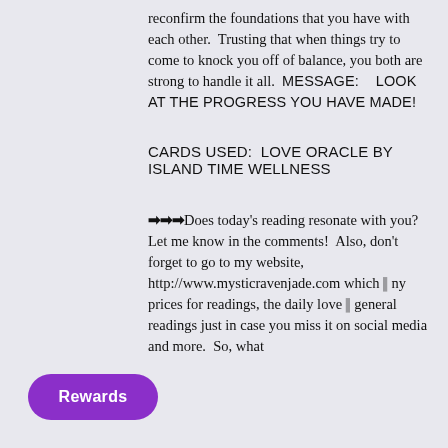reconfirm the foundations that you have with each other.  Trusting that when things try to come to knock you off of balance, you both are strong to handle it all.  MESSAGE:   LOOK AT THE PROGRESS YOU HAVE MADE!
CARDS USED:  LOVE ORACLE BY ISLAND TIME WELLNESS
➡➡➡Does today's reading resonate with you?  Let me know in the comments!  Also, don't forget to go to my website, http://www.mysticravenjade.com which [my prices for readings, the daily love [general readings just in case you miss it on social media and more.  So, what
Rewards